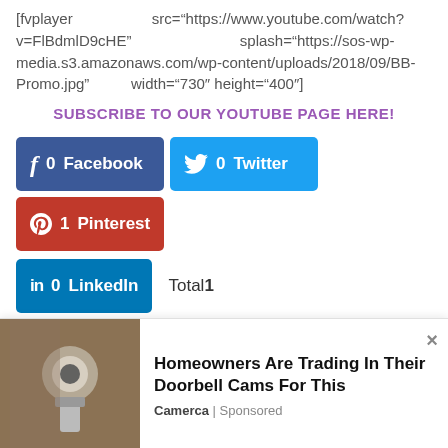[fvplayer src="https://www.youtube.com/watch?v=FlBdmlD9cHE" splash="https://sos-wp-media.s3.amazonaws.com/wp-content/uploads/2018/09/BB-Promo.jpg" width="730" height="400"]
SUBSCRIBE TO OUR YOUTUBE PAGE HERE!
[Figure (infographic): Social share buttons: Facebook (0), Twitter (0), Pinterest (1), LinkedIn (0), Total 1]
[Figure (infographic): SHE Media banner with BECOME A MEMBER button]
[Figure (infographic): Ad: Homeowners Are Trading In Their Doorbell Cams For This — Camerca | Sponsored, with photo of outdoor camera]